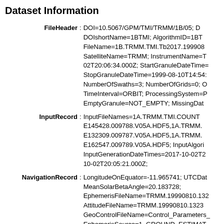Dataset Information
FileHeader: DOI=10.5067/GPM/TMI/TRMM/1B/05; DOIshortName=1BTMI; AlgorithmID=1BT... FileName=1B.TRMM.TMI.Tb2017.19990810... SatelliteName=TRMM; InstrumentName=T... 02T20:06:34.000Z; StartGranuleDateTime=... StopGranuleDateTime=1999-08-10T14:54:... NumberOfSwaths=3; NumberOfGrids=0; C... TimeInterval=ORBIT; ProcessingSystem=P... EmptyGranule=NOT_EMPTY; MissingDat...
InputRecord: InputFileNames=1A.TRMM.TMI.COUNT... E145428.009788.V05A.HDF5,1A.TRMM.... E132309.009787.V05A.HDF5,1A.TRMM.... E162547.009789.V05A.HDF5; InputAlgori... InputGenerationDateTimes=2017-10-02T20... 10-02T20:05:21.000Z;
NavigationRecord: LongitudeOnEquator=-11.965741; UTCDat... MeanSolarBetaAngle=20.183728; EphemerisFileName=TRMM.19990810.132... AttitudeFileName=TRMM.19990810.1323... GeoControlFileName=Control_Parameters_... EphemerisSource=1_GROUND_ESTIMAT... Read from File. TRMM.AttDetermSource...